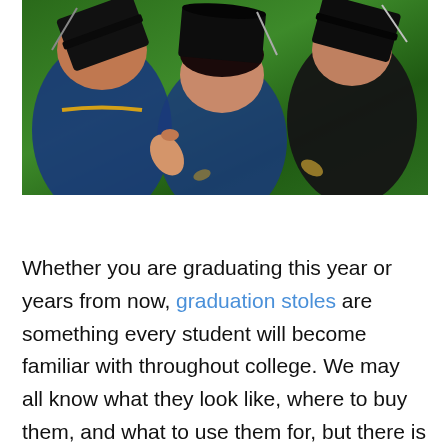[Figure (photo): Students in blue and black graduation gowns lying on grass, holding up their black mortarboard caps with tassels, viewed from above at an angle.]
Whether you are graduating this year or years from now, graduation stoles are something every student will become familiar with throughout college. We may all know what they look like, where to buy them, and what to use them for, but there is a lot more to unpack about these special accessories